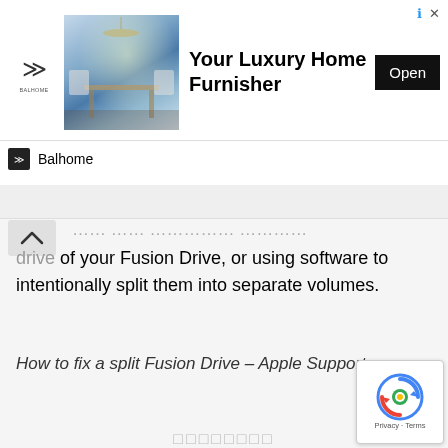[Figure (other): Advertisement banner for Balhome luxury furniture. Shows logo, interior photo, bold title 'Your Luxury Home Furnisher', Open button, and Balhome branding bar.]
drive of your Fusion Drive, or using software to intentionally split them into separate volumes.
How to fix a split Fusion Drive – Apple Support
□□□□□□□□
[Figure (other): reCAPTCHA badge with spinning arrow icon and Privacy - Terms text]